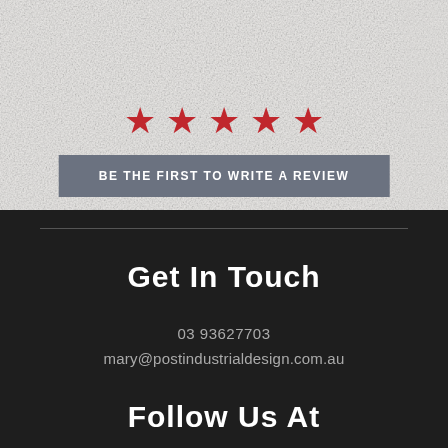[Figure (other): Five red stars rating display on light grey textured background]
BE THE FIRST TO WRITE A REVIEW
Get In Touch
03 93627703
mary@postindustrialdesign.com.au
Follow Us At